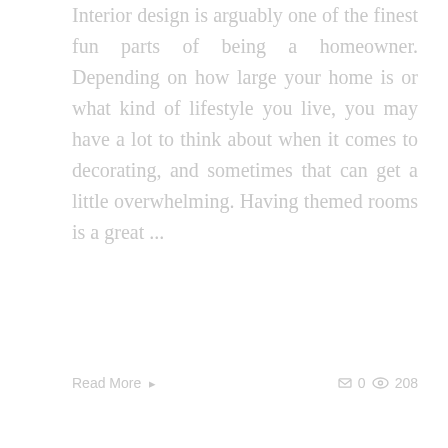Interior design is arguably one of the finest fun parts of being a homeowner. Depending on how large your home is or what kind of lifestyle you live, you may have a lot to think about when it comes to decorating, and sometimes that can get a little overwhelming. Having themed rooms is a great ...
Read More >   0  208